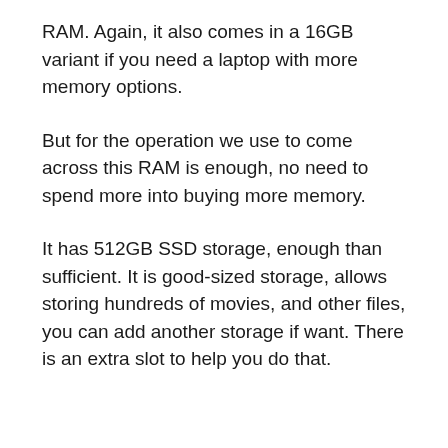RAM. Again, it also comes in a 16GB variant if you need a laptop with more memory options.
But for the operation we use to come across this RAM is enough, no need to spend more into buying more memory.
It has 512GB SSD storage, enough than sufficient. It is good-sized storage, allows storing hundreds of movies, and other files, you can add another storage if want. There is an extra slot to help you do that.